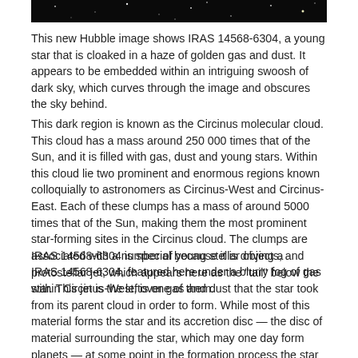[Figure (photo): Top portion of a Hubble Space Telescope image showing IRAS 14568-6304, a young star cloaked in golden gas and dust against a dark sky background with stars visible.]
This new Hubble image shows IRAS 14568-6304, a young star that is cloaked in a haze of golden gas and dust. It appears to be embedded within an intriguing swoosh of dark sky, which curves through the image and obscures the sky behind.
This dark region is known as the Circinus molecular cloud. This cloud has a mass around 250 000 times that of the Sun, and it is filled with gas, dust and young stars. Within this cloud lie two prominent and enormous regions known colloquially to astronomers as Circinus-West and Circinus-East. Each of these clumps has a mass of around 5000 times that of the Sun, making them the most prominent star-forming sites in the Circinus cloud. The clumps are associated with a number of young stellar objects, and IRAS 14568-6304, featured here under a blurry fog of gas within Circinus-West, is one of them.
IRAS 14568-6304 is special because it is driving a protostellar jet, which appears here as the "tail" below the star. This jet is the leftover gas and dust that the star took from its parent cloud in order to form. While most of this material forms the star and its accretion disc — the disc of material surrounding the star, which may one day form planets — at some point in the formation process the star began to eject some of the material at supersonic speeds through space. This